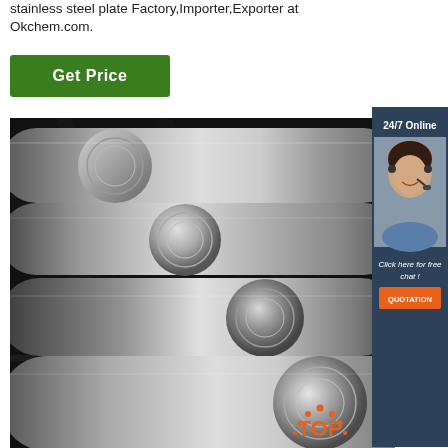stainless steel plate Factory,Importer,Exporter at Okchem.com.
[Figure (other): Green 'Get Price' button]
[Figure (photo): Multiple shiny stainless steel cylindrical rods/bars stacked together on a dark surface]
[Figure (infographic): Dark blue sidebar widget showing '24/7 Online', a customer service agent with headset, 'Click here for free chat!', and an orange QUOTATION button]
[Figure (other): Orange 'TOP' badge with dotted arc above it, bottom right of the steel image]